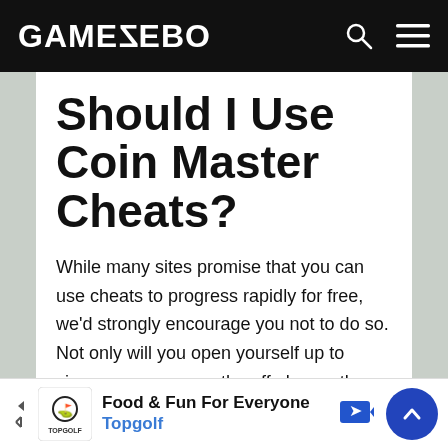GAMEZEBO
Should I Use Coin Master Cheats?
While many sites promise that you can use cheats to progress rapidly for free, we'd strongly encourage you not to do so. Not only will you open yourself up to viruses or scams on the off-chance these cheats even work, you may end up getting banned and los…
[Figure (screenshot): Advertisement banner for Topgolf: Food & Fun For Everyone]